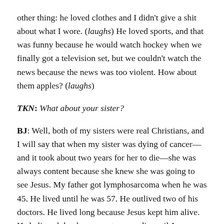other thing: he loved clothes and I didn't give a shit about what I wore. (laughs) He loved sports, and that was funny because he would watch hockey when we finally got a television set, but we couldn't watch the news because the news was too violent. How about them apples? (laughs)
TKN: What about your sister?
BJ: Well, both of my sisters were real Christians, and I will say that when my sister was dying of cancer—and it took about two years for her to die—she was always content because she knew she was going to see Jesus. My father got lymphosarcoma when he was 45. He lived until he was 57. He outlived two of his doctors. He lived long because Jesus kept him alive. He believed that he was not gonna die until Jesus wanted to take him. And I believe that belief kept him alive, I really do. I believe in the power of belief, for good or for bad. Therefore be careful what you believe because it's going